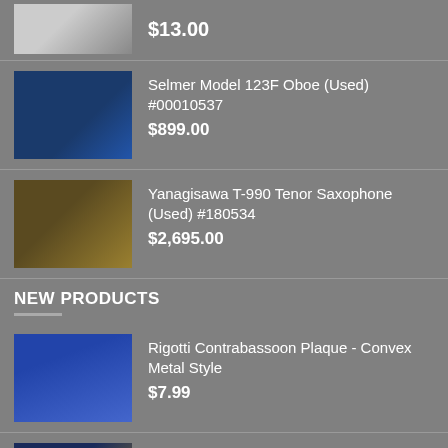$13.00
Selmer Model 123F Oboe (Used) #00010537
$899.00
Yanagisawa T-990 Tenor Saxophone (Used) #180534
$2,695.00
NEW PRODUCTS
Rigotti Contrabassoon Plaque - Convex Metal Style
$7.99
Selmer-Paris Mark IV Tenor Saxophone (Used) #107376
$5,400.00
Selmer Paris Mark VI Soprano Saxophone